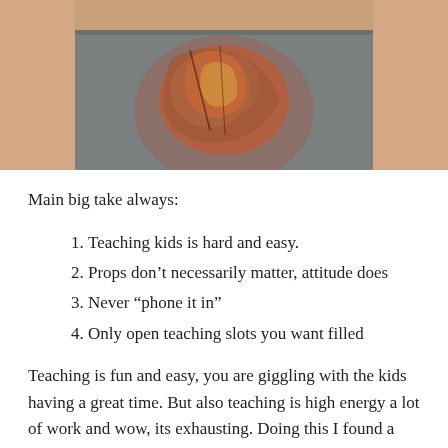[Figure (photo): Close-up photo showing a person wearing a colorful graphic t-shirt, with skin visible on sides, against a grey background]
Main big take always:
Teaching kids is hard and easy.
Props don't necessarily matter, attitude does
Never “phone it in”
Only open teaching slots you want filled
Teaching is fun and easy, you are giggling with the kids having a great time. But also teaching is high energy a lot of work and wow, its exhausting. Doing this I found a much deeper and more profound